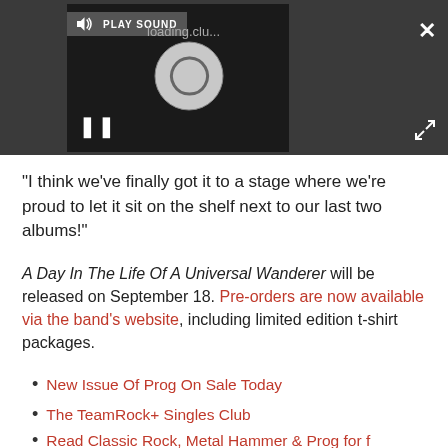[Figure (screenshot): Video/audio player with dark background showing a loading spinner, pause button, play sound label, close button, and expand button]
“I think we’ve finally got it to a stage where we’re proud to let it sit on the shelf next to our last two albums!”
A Day In The Life Of A Universal Wanderer will be released on September 18. Pre-orders are now available via the band’s website, including limited edition t-shirt packages.
New Issue Of Prog On Sale Today
The TeamRock+ Singles Club
Read Classic Rock, Metal Hammer & Prog for f...